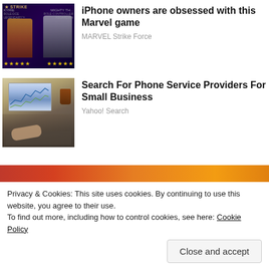[Figure (photo): Marvel Strike Force game advertisement image showing characters Valkyrie and Mighty Thor with yellow star ratings at the bottom on a dark purple background]
iPhone owners are obsessed with this Marvel game
MARVEL Strike Force
[Figure (photo): Photo of person's hands typing on a laptop with stock charts on the screen, a drink cup visible in the background]
Search For Phone Service Providers For Small Business
Yahoo! Search
[Figure (photo): Partial image of a person with dark hair against an orange/red background, partially obscured by cookie consent overlay]
Privacy & Cookies: This site uses cookies. By continuing to use this website, you agree to their use.
To find out more, including how to control cookies, see here: Cookie Policy
Close and accept